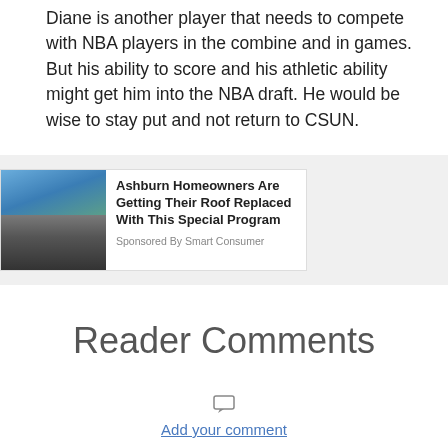Diane is another player that needs to compete with NBA players in the combine and in games. But his ability to score and his athletic ability might get him into the NBA draft. He would be wise to stay put and not return to CSUN.
[Figure (infographic): Advertisement showing a person working on a roof with text about Ashburn Homeowners Getting Their Roof Replaced With This Special Program, sponsored by Smart Consumer]
Reader Comments
Add your comment